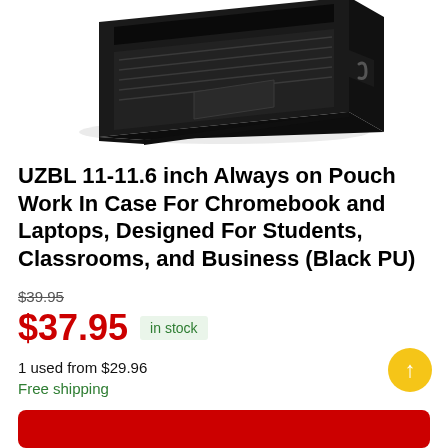[Figure (photo): Partial view of a black laptop/chromebook case with handle, viewed from above at an angle, showing keyboard and touchpad area]
UZBL 11-11.6 inch Always on Pouch Work In Case For Chromebook and Laptops, Designed For Students, Classrooms, and Business (Black PU)
$39.95 (strikethrough original price)
$37.95 in stock
1 used from $29.96
Free shipping